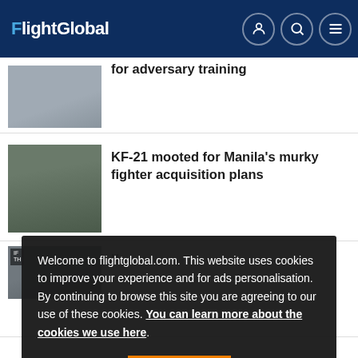FlightGlobal
for adversary training
KF-21 mooted for Manila's murky fighter acquisition plans
Welcome to flightglobal.com. This website uses cookies to improve your experience and for ads personalisation. By continuing to browse this site you are agreeing to our use of these cookies. You can learn more about the cookies we use here.
OK